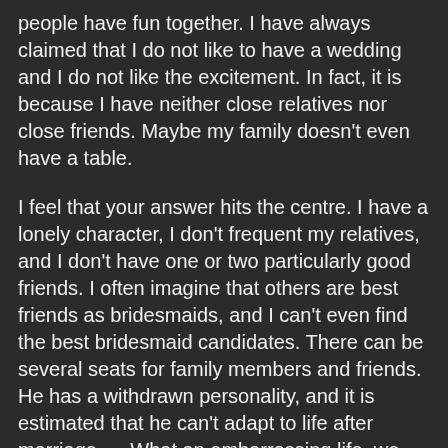people have fun together. I have always claimed that I do not like to have a wedding and I do not like the excitement. In fact, it is because I have neither close relatives nor close friends. Maybe my family doesn't even have a table.
I feel that your answer hits the centre. I have a lonely character, I don't frequent my relatives, and I don't have one or two particularly good friends. I often imagine that others are best friends as bridesmaids, and I can't even find the best bridesmaid candidates. There can be several seats for family members and friends. He has a withdrawn personality, and it is estimated that he can't adapt to life after marriage. . . What an embarrassing life, we have bridesmaids renting...It is said that we rent a bridesmaid for 500 to 1000 a day... Most of our marriages are 7 or 5 bridesmaids... If we don't have enough, we will rent...
Hey, just after we got married, a friend came over. I kept changing schools, so my junior high and high school